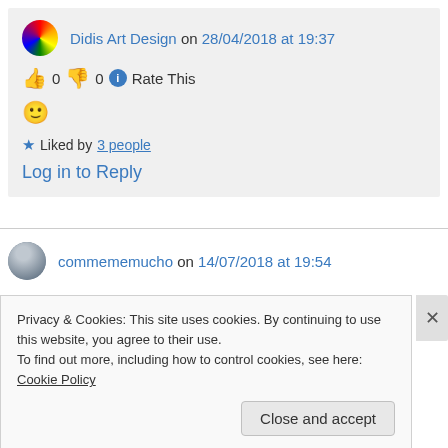Didis Art Design on 28/04/2018 at 19:37
👍 0 👎 0 ℹ Rate This
🙂
Liked by 3 people
Log in to Reply
commememucho on 14/07/2018 at 19:54
Privacy & Cookies: This site uses cookies. By continuing to use this website, you agree to their use.
To find out more, including how to control cookies, see here: Cookie Policy
Close and accept